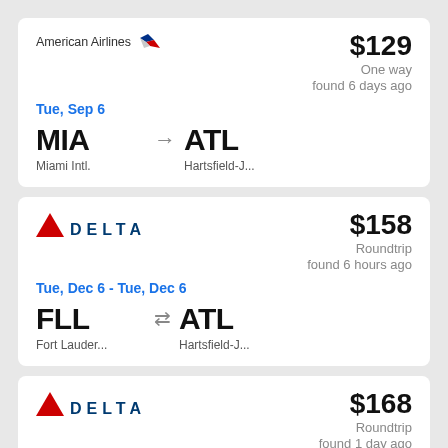[Figure (logo): American Airlines logo with text and red bird icon]
$129
One way
found 6 days ago
Tue, Sep 6
MIA → ATL
Miami Intl.
Hartsfield-J...
[Figure (logo): Delta airlines logo with red triangle and DELTA text]
$158
Roundtrip
found 6 hours ago
Tue, Dec 6 - Tue, Dec 6
FLL ⇄ ATL
Fort Lauder...
Hartsfield-J...
[Figure (logo): Delta airlines logo with red triangle and DELTA text]
$168
Roundtrip
found 1 day ago
Fri, Sep 23 - Sun, Sep 25